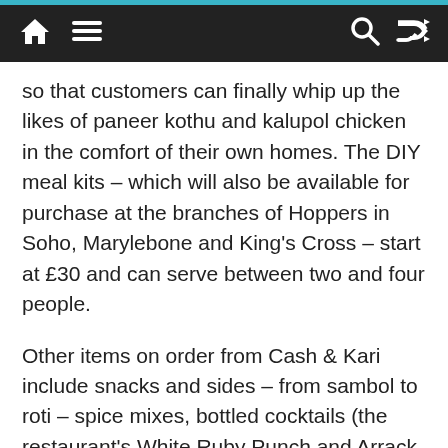Navigation bar with home, menu, search, and shuffle icons
so that customers can finally whip up the likes of paneer kothu and kalupol chicken in the comfort of their own homes. The DIY meal kits – which will also be available for purchase at the branches of Hoppers in Soho, Marylebone and King's Cross – start at £30 and can serve between two and four people.
Other items on order from Cash & Kari include snacks and sides – from sambol to roti – spice mixes, bottled cocktails (the restaurant's White Ruby Punch and Arrack Attack are currently available), beers and spirits, all inspired by the restaurant's own menu.
Orders must be placed by 11pm on Sunday for delivery the following Friday. And here's the really